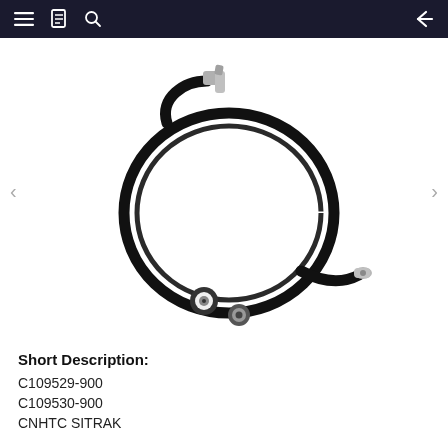≡ 🔖 🔍  ←
[Figure (photo): A black coiled motorcycle/bicycle throttle cable with silver metal ends — one end has a right-angle barrel fitting and the other has a straight barrel end. Below the cable are two small metal cable end fittings (ferrules).]
Short Description:
C109529-900
C109530-900
CNHTC SITRAK